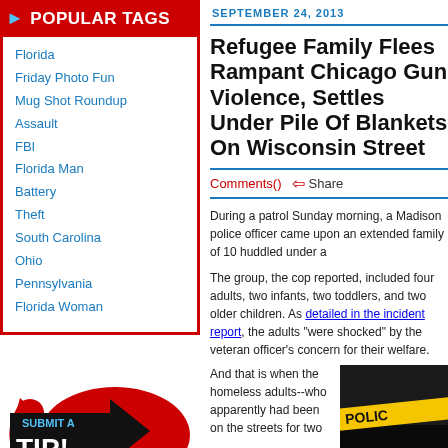POPULAR TAGS
Florida
Friday Photo Fun
Mug Shot Roundup
Assault
FBI
Florida Man
Battery
Theft
South Carolina
Ohio
Pennsylvania
Florida Woman
[Figure (infographic): Submit a Tip button graphic with black arrow and red background]
SEPTEMBER 24, 2013
Refugee Family Flees Rampant Chicago Gun Violence, Settles Under Pile Of Blankets On Wisconsin Street
Comments() Share
During a patrol Sunday morning, a Madison police officer came upon an extended family of 10 huddled under a
The group, the cop reported, included four adults, two infants, two toddlers, and two older children. As detailed in the incident report, the adults "were shocked" by the veteran officer's concern for their welfare.
[Figure (photo): Police tape reading POLICE in yellow on dark background]
And that is when the homeless adults--who apparently had been on the streets for two